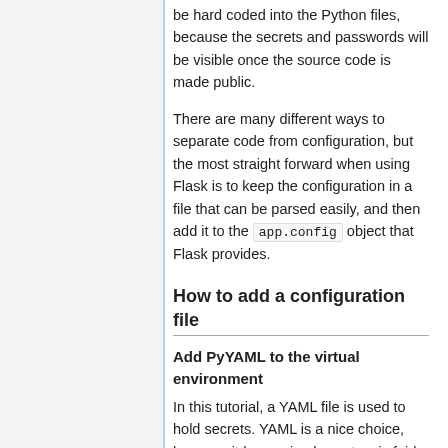be hard coded into the Python files, because the secrets and passwords will be visible once the source code is made public.
There are many different ways to separate code from configuration, but the most straight forward when using Flask is to keep the configuration in a file that can be parsed easily, and then add it to the app.config object that Flask provides.
How to add a configuration file
Add PyYAML to the virtual environment
In this tutorial, a YAML file is used to hold secrets. YAML is a nice choice, because it has a simple syntax, is fairly easy for humans to read, and supports both